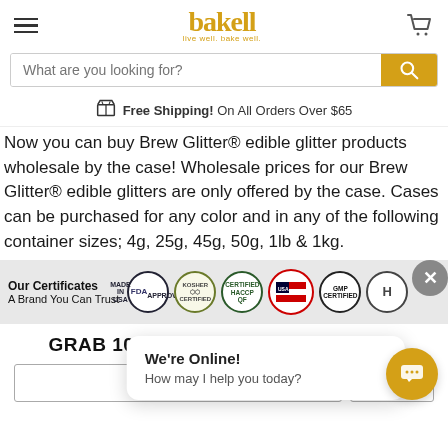[Figure (logo): Bakell logo with tagline 'live well. bake well.' in gold/yellow color, with hamburger menu icon on left and cart icon on right]
[Figure (screenshot): Search bar with placeholder 'What are you looking for?' and gold search button]
Free Shipping! On All Orders Over $65
Now you can buy Brew Glitter® edible glitter products wholesale by the case! Wholesale prices for our Brew Glitter® edible glitters are only offered by the case. Cases can be purchased for any color and in any of the following container sizes; 4g, 25g, 45g, 50g, 1lb & 1kg.
[Figure (infographic): Certificates bar showing: Our Certificates - A Brand You Can Trust, with FDA, Kosher, HACCP, Made in USA, GMP Certified, and H badges]
GRAB 10% OFF YOUR FIRST ORDER
[Figure (screenshot): Chat popup with 'We're Online! How may I help you today?' message and gold chat FAB button]